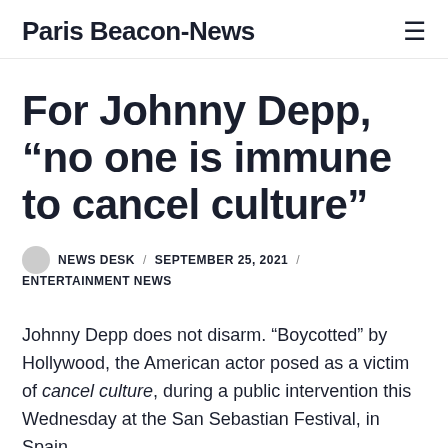Paris Beacon-News
For Johnny Depp, “no one is immune to cancel culture”
NEWS DESK / SEPTEMBER 25, 2021 / ENTERTAINMENT NEWS
Johnny Depp does not disarm. “Boycotted” by Hollywood, the American actor posed as a victim of cancel culture, during a public intervention this Wednesday at the San Sebastian Festival, in Spain